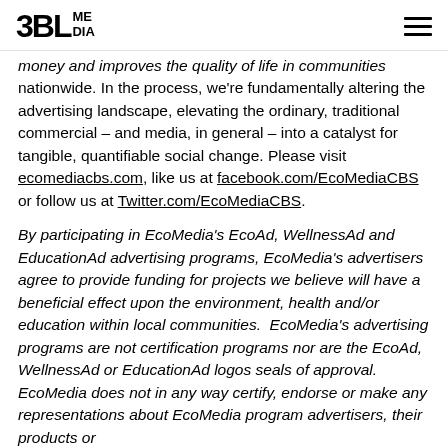3BL MEDIA
money and improves the quality of life in communities nationwide. In the process, we're fundamentally altering the advertising landscape, elevating the ordinary, traditional commercial – and media, in general – into a catalyst for tangible, quantifiable social change. Please visit ecomediacbs.com, like us at facebook.com/EcoMediaCBS or follow us at Twitter.com/EcoMediaCBS.
By participating in EcoMedia's EcoAd, WellnessAd and EducationAd advertising programs, EcoMedia's advertisers agree to provide funding for projects we believe will have a beneficial effect upon the environment, health and/or education within local communities.  EcoMedia's advertising programs are not certification programs nor are the EcoAd, WellnessAd or EducationAd logos seals of approval. EcoMedia does not in any way certify, endorse or make any representations about EcoMedia program advertisers, their products or